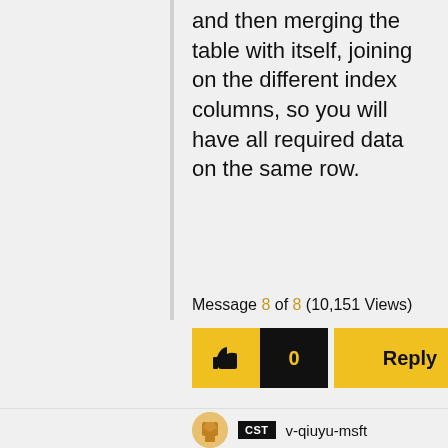and then merging the table with itself, joining on the different index columns, so you will have all required data on the same row.
Message 8 of 8 (10,151 Views)
[Figure (infographic): Like button (thumbs up, yellow), count badge showing 0 (black background, yellow text), and Reply button (yellow)]
[Figure (illustration): User avatar icon (yellow/orange color) and CST badge with username v-qiuyu-msft]